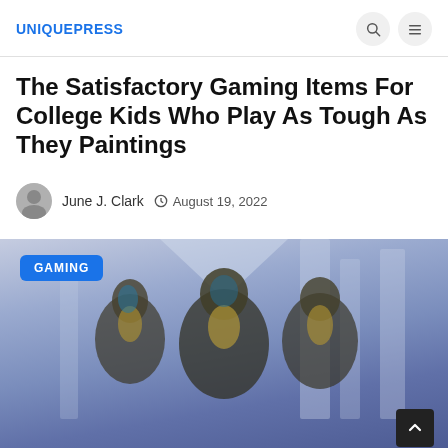UNIQUEPRESS
The Satisfactory Gaming Items For College Kids Who Play As Tough As They Paintings
June J. Clark  August 19, 2022
[Figure (photo): Three armored gaming characters (likely from Destiny) in gold and teal armor, standing against a light purple sci-fi background. A blue 'GAMING' category badge is in the upper left corner.]